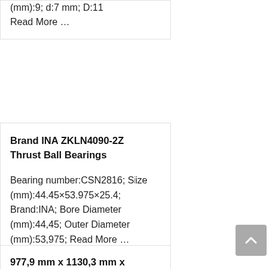(mm):9; d:7 mm; D:11
Read More …
Brand INA ZKLN4090-2Z Thrust Ball Bearings
Bearing number:CSN2816; Size (mm):44.45×53.975×25.4; Brand:INA; Bore Diameter (mm):44,45; Outer Diameter (mm):53,975; Read More …
977,9 mm x 1130,3 mm x